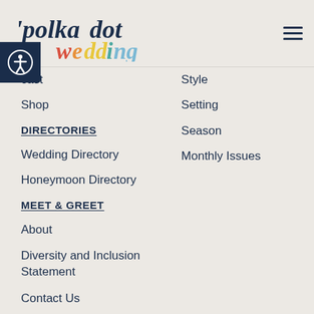polkadot wedding
cast
Shop
Style
Setting
Season
Monthly Issues
DIRECTORIES
Wedding Directory
Honeymoon Directory
MEET & GREET
About
Diversity and Inclusion Statement
Contact Us
Log In
SHOW & SHARE
Make a submission
Advertise